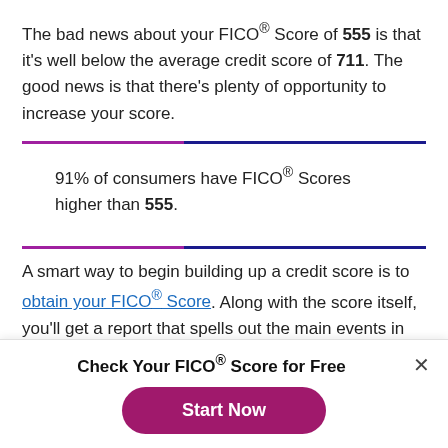The bad news about your FICO® Score of 555 is that it's well below the average credit score of 711. The good news is that there's plenty of opportunity to increase your score.
91% of consumers have FICO® Scores higher than 555.
A smart way to begin building up a credit score is to obtain your FICO® Score. Along with the score itself, you'll get a report that spells out the main events in your credit history that are lowering your score. Because that information is
Check Your FICO® Score for Free
Start Now